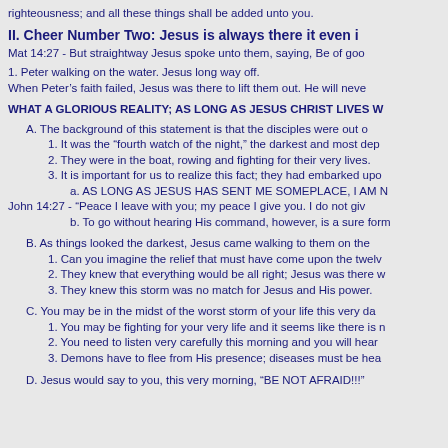righteousness; and all these things shall be added unto you.
II. Cheer Number Two: Jesus is always there it even i
Mat 14:27 - But straightway Jesus spoke unto them, saying, Be of goo
1. Peter walking on the water. Jesus long way off.
When Peter’s faith failed, Jesus was there to lift them out. He will neve
WHAT A GLORIOUS REALITY; AS LONG AS JESUS CHRIST LIVES W
A. The background of this statement is that the disciples were out o
1. It was the "fourth watch of the night," the darkest and most dep
2. They were in the boat, rowing and fighting for their very lives.
3. It is important for us to realize this fact; they had embarked upo
a. AS LONG AS JESUS HAS SENT ME SOMEPLACE, I AM N
John 14:27 -  "Peace I leave with you; my peace I give you. I do not giv
b. To go without hearing His command, however, is a sure form
B. As things looked the darkest, Jesus came walking to them on the
1. Can you imagine the relief that must have come upon the twelv
2. They knew that everything would be all right; Jesus was there w
3. They knew this storm was no match for Jesus and His power.
C. You may be in the midst of the worst storm of your life this very da
1. You may be fighting for your very life and it seems like there is n
2. You need to listen very carefully this morning and you will hear
3. Demons have to flee from His presence; diseases must be hea
D. Jesus would say to you, this very morning, "BE NOT AFRAID!!!"